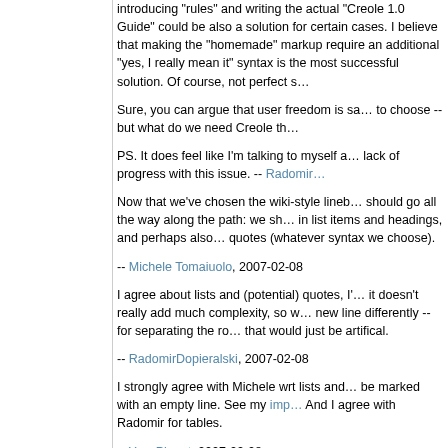introducing "rules" and writing the actual "Creole 1.0 Guide" could be also a solution for certain cases. I believe that making the "homemade" markup require an additional "yes, I really mean it" syntax is the most successful solution. Of course, not perfect s…
Sure, you can argue that user freedom is sa… to choose -- but what do we need Creole th…
PS. It does feel like I'm talking to myself a… lack of progress with this issue. -- Radomir…
Now that we've chosen the wiki-style lineb… should go all the way along the path: we sh… in list items and headings, and perhaps also… quotes (whatever syntax we choose).
-- Michele Tomaiuolo, 2007-02-08
I agree about lists and (potential) quotes, I'… it doesn't really add much complexity, so w… new line differently -- for separating the ro… that would just be artifical.
-- RadomirDopieralski, 2007-02-08
I strongly agree with Michele wrt lists and… be marked with an empty line. See my imp… And I agree with Radomir for tables.
-- YvesPiguet, 2007-02-08
Yes, multiline list and headings maybe usef…